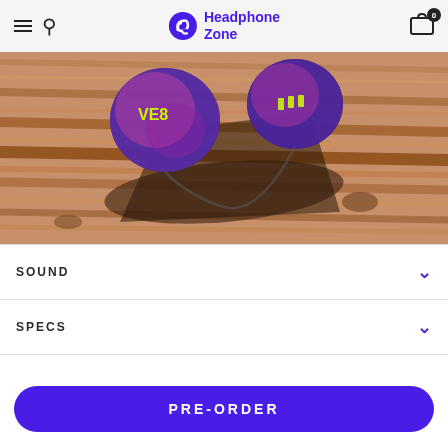Headphone Zone
[Figure (photo): Close-up photo of VE8 in-ear monitors (IEMs) with purple/pink translucent shells with yellow accents, resting on a wooden surface with dramatic shadow]
SOUND
SPECS
ABOUT THE ITEM
PRE-ORDER